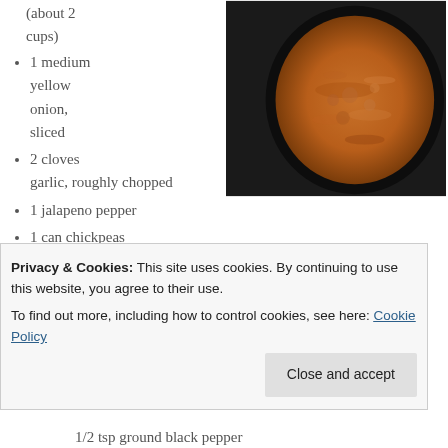(about 2 cups)
[Figure (photo): A dark bowl or plate containing an orange-brown soup or stew, viewed from above.]
1 medium yellow onion, sliced
2 cloves garlic, roughly chopped
1 jalapeno pepper
1 can chickpeas
1 egg
1 tbsp oregano
Privacy & Cookies: This site uses cookies. By continuing to use this website, you agree to their use.
To find out more, including how to control cookies, see here: Cookie Policy
Close and accept
1/2 tsp ground black pepper